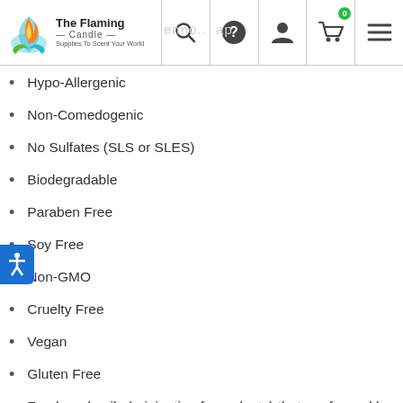The Flaming Candle — Supplies To Scent Your World
Hypo-Allergenic
Non-Comedogenic
No Sulfates (SLS or SLES)
Biodegradable
Paraben Free
Soy Free
Non-GMO
Cruelty Free
Vegan
Gluten Free
Food grade oils (originating from plants) that are farmed by sustainable growers